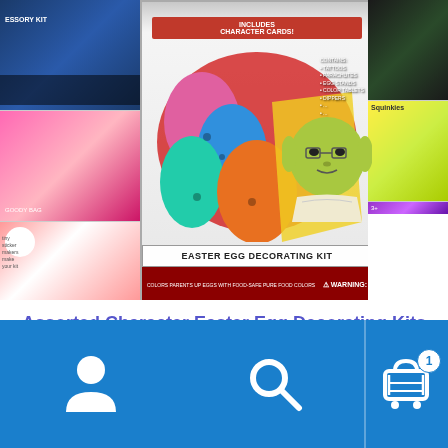[Figure (photo): Product image of Assorted Character Easter Egg Decorating Kits. Center shows a Star Wars Yoda themed Easter Egg Decorating Kit box with colorful decorated eggs. Left side shows partial images of other character kits (Minnie Mouse, Hello Kitty). Right side shows partial images of other kits (Star Wars, Squinkies, another kit). The box bottom has a red banner with text and a WARNING label.]
Assorted Character Easter Egg Decorating Kits
$8.99